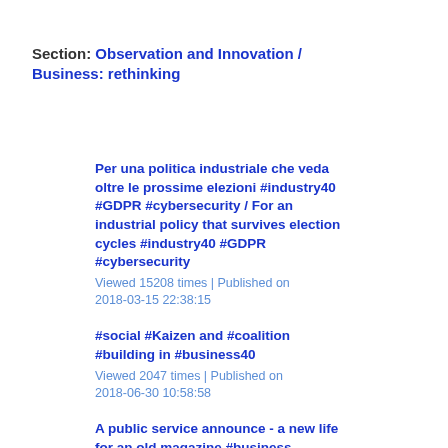Section: Observation and Innovation / Business: rethinking
Per una politica industriale che veda oltre le prossime elezioni #industry40 #GDPR #cybersecurity / For an industrial policy that survives election cycles #industry40 #GDPR #cybersecurity
Viewed 15208 times | Published on 2018-03-15 22:38:15
#social #Kaizen and #coalition #building in #business40
Viewed 2047 times | Published on 2018-06-30 10:58:58
A public service announce - a new life for an old magazine #business #innovation #knowledge #sharing #holistic
Viewed 2212 times | Published on 2018-07-25 11:58:14